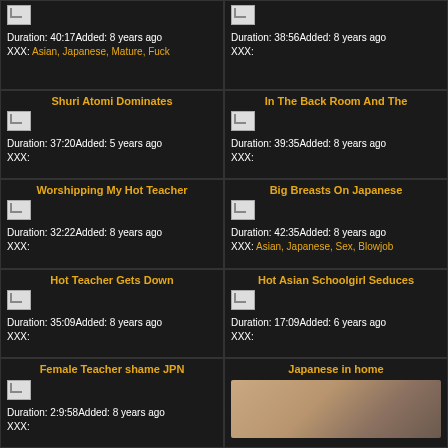Duration: 40:17Added: 8 years ago XXX: Asian, Japanese, Mature, Fuck
Duration: 38:56Added: 8 years ago XXX:
Shuri Atomi Dominates
Duration: 37:20Added: 5 years ago XXX:
In The Back Room And The
Duration: 39:35Added: 8 years ago XXX:
Worshipping My Hot Teacher
Duration: 32:22Added: 8 years ago XXX:
Big Breasts On Japanese
Duration: 42:35Added: 8 years ago XXX: Asian, Japanese, Sex, Blowjob
Hot Teacher Gets Down
Duration: 35:09Added: 8 years ago XXX:
Hot Asian Schoolgirl Seduces
Duration: 17:09Added: 6 years ago XXX:
Female Teacher shame JPN
Duration: 2:9:58Added: 8 years ago XXX:
Japanese in home
[Figure (photo): Close-up skin/neck photo]